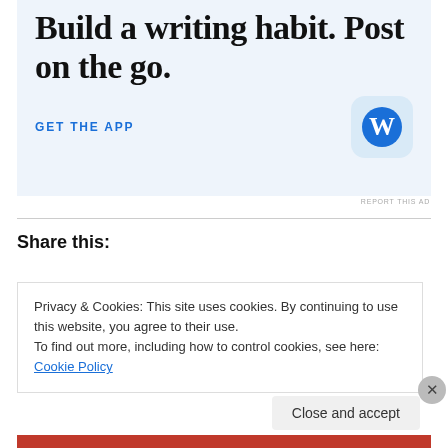[Figure (illustration): WordPress app advertisement banner with light blue background. Large serif headline reads 'Build a writing habit. Post on the go.' with 'GET THE APP' link in blue and WordPress app icon (W logo in blue circle on light blue rounded square).]
REPORT THIS AD
Share this:
Privacy & Cookies: This site uses cookies. By continuing to use this website, you agree to their use.
To find out more, including how to control cookies, see here: Cookie Policy
Close and accept